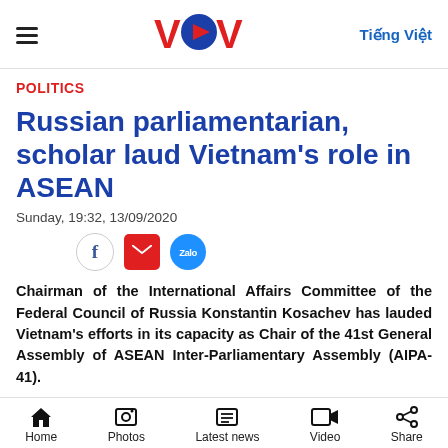VOV — Tiếng Việt
POLITICS
Russian parliamentarian, scholar laud Vietnam's role in ASEAN
Sunday, 19:32, 13/09/2020
[Figure (other): Social share icons: Facebook, Email, Zalo]
Chairman of the International Affairs Committee of the Federal Council of Russia Konstantin Kosachev has lauded Vietnam's efforts in its capacity as Chair of the 41st General Assembly of ASEAN Inter-Parliamentary Assembly (AIPA-41).
Home | Photos | Latest news | Video | Share